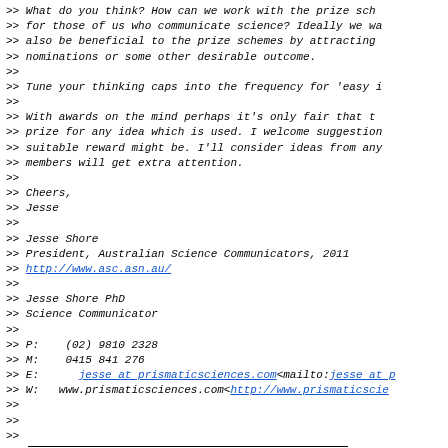>> What do you think? How can we work with the prize sc...
>> for those of us who communicate science? Ideally we wa...
>> also be beneficial to the prize schemes by attracting...
>> nominations or some other desirable outcome.
>>
>> Tune your thinking caps into the frequency for 'easy i...
>>
>> With awards on the mind perhaps it's only fair that t...
>> prize for any idea which is used. I welcome suggestion...
>> suitable reward might be. I'll consider ideas from any...
>> members will get extra attention.
>>
>> Cheers,
>> Jesse
>>
>> Jesse Shore
>> President, Australian Science Communicators, 2011
>> http://www.asc.asn.au/
>>
>> Jesse Shore PhD
>> Science Communicator
>>
>> P:    (02) 9810 2328
>> M:    0415 841 276
>> E:      jesse at prismaticsciences.com<mailto:jesse at p...
>> W:   www.prismaticsciences.com<http://www.prismaticscie...
>>
>>
>>
>> ASC-list mailing list
>> list at asc.asn.au<mailto:list at asc.asn.au>